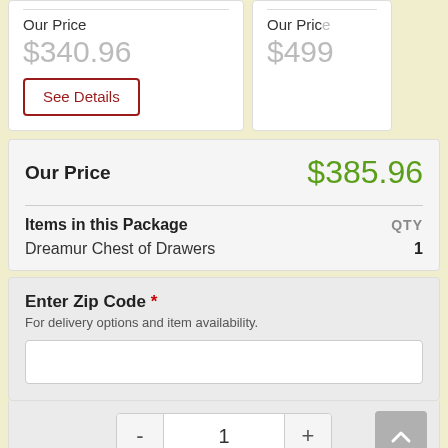Our Price $340.96
See Details
Our Price $499
Our Price $385.96
| Items in this Package | QTY |
| --- | --- |
| Dreamur Chest of Drawers | 1 |
Enter Zip Code * For delivery options and item availability.
- 1 +